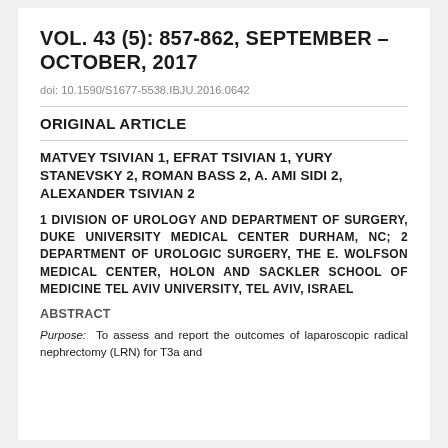VOL. 43 (5): 857-862, SEPTEMBER – OCTOBER, 2017
doi: 10.1590/S1677-5538.IBJU.2016.0642
ORIGINAL ARTICLE
MATVEY TSIVIAN 1, EFRAT TSIVIAN 1, YURY STANEVSKY 2, ROMAN BASS 2, A. AMI SIDI 2, ALEXANDER TSIVIAN 2
1 DIVISION OF UROLOGY AND DEPARTMENT OF SURGERY, DUKE UNIVERSITY MEDICAL CENTER DURHAM, NC; 2 DEPARTMENT OF UROLOGIC SURGERY, THE E. WOLFSON MEDICAL CENTER, HOLON AND SACKLER SCHOOL OF MEDICINE TEL AVIV UNIVERSITY, TEL AVIV, ISRAEL
ABSTRACT
Purpose: To assess and report the outcomes of laparoscopic radical nephrectomy (LRN) for T3a and